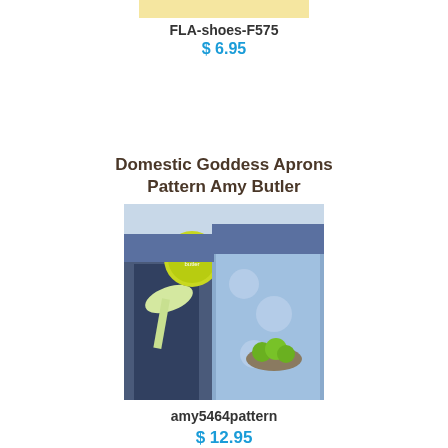[Figure (photo): Partial product image at top, yellow/tan background, cropped]
FLA-shoes-F575
$ 6.95
Domestic Goddess Aprons Pattern Amy Butler
[Figure (photo): Two people wearing decorative aprons, one holding a bowl of limes, Amy Butler branded circle logo visible]
amy5464pattern
$ 12.95